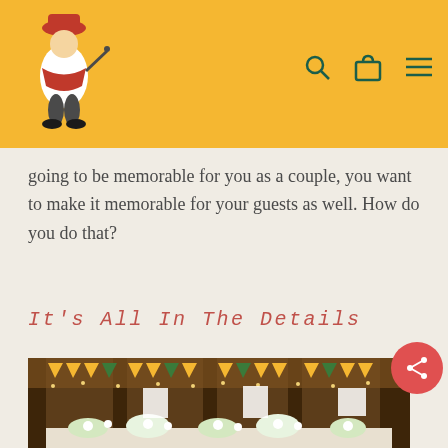[Navigation header with logo and icons]
going to be memorable for you as a couple, you want to make it memorable for your guests as well. How do you do that?
It's All In The Details
[Figure (photo): Wedding reception venue decorated with yellow and green bunting flags, fairy lights, and floral table arrangements in a barn-style setting.]